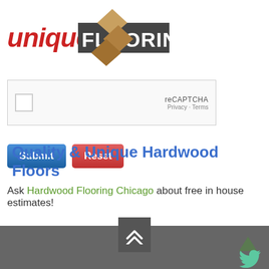[Figure (logo): Unique Flooring logo with red italic 'unique' text, grey 'FLOORING' box, and brown diamond/chevron graphic]
[Figure (screenshot): reCAPTCHA widget box with checkbox, 'reCAPTCHA' label, Privacy and Terms links]
[Figure (screenshot): Submit (blue) and Reset (red) buttons with 'Quality & Unique Hardwood Floors' headline behind them]
Ask Hardwood Flooring Chicago about free in house estimates!
[Figure (other): Dark grey scroll-to-top button with double chevron up arrow]
Dark grey footer bar with Twitter bird icon and up arrow